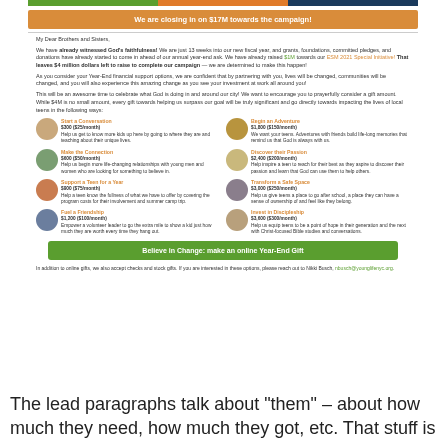[Figure (screenshot): Email newsletter screenshot showing a fundraising campaign message with header banner, body text, giving tier grid, CTA button, and footer.]
The lead paragraphs talk about "them" – about how much they need, how much they got, etc. That stuff is